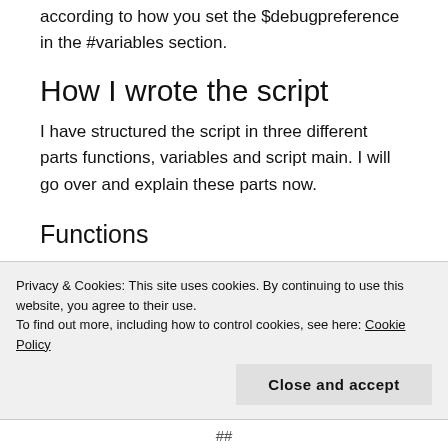according to how you set the $debugpreference in the #variables section.
How I wrote the script
I have structured the script in three different parts functions, variables and script main. I will go over and explain these parts now.
Functions
The script uses 4 functions which provide the main functionality.
Privacy & Cookies: This site uses cookies. By continuing to use this website, you agree to their use.
To find out more, including how to control cookies, see here: Cookie Policy
Close and accept
##